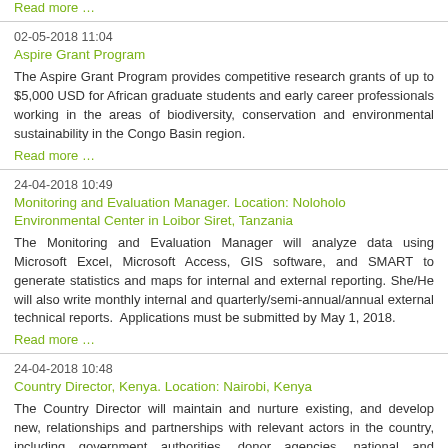Read more …
02-05-2018 11:04
Aspire Grant Program
The Aspire Grant Program provides competitive research grants of up to $5,000 USD for African graduate students and early career professionals working in the areas of biodiversity, conservation and environmental sustainability in the Congo Basin region.
Read more …
24-04-2018 10:49
Monitoring and Evaluation Manager. Location: Noloholo Environmental Center in Loibor Siret, Tanzania
The Monitoring and Evaluation Manager will analyze data using Microsoft Excel, Microsoft Access, GIS software, and SMART to generate statistics and maps for internal and external reporting. She/He will also write monthly internal and quarterly/semi-annual/annual external technical reports. Applications must be submitted by May 1, 2018.
Read more …
24-04-2018 10:48
Country Director, Kenya. Location: Nairobi, Kenya
The Country Director will maintain and nurture existing, and develop new, relationships and partnerships with relevant actors in the country, including government authorities, donor agencies, national and international NGOs, private sector and research institutions. She/He will also identify fundraising opportunities and secure funds for the programme, including the preparation of fundraising proposals. Closing Date: Midnight (23:59) Sunday 7th May 2018
Read more …